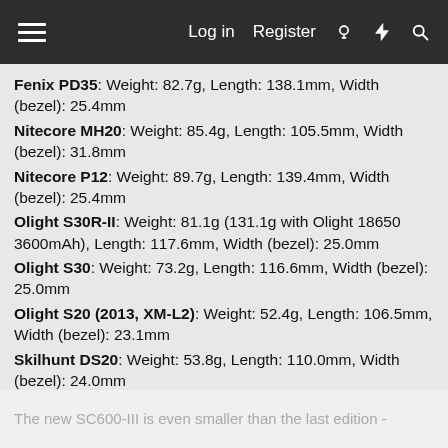Log in  Register
Fenix PD35: Weight: 82.7g, Length: 138.1mm, Width (bezel): 25.4mm
Nitecore MH20: Weight: 85.4g, Length: 105.5mm, Width (bezel): 31.8mm
Nitecore P12: Weight: 89.7g, Length: 139.4mm, Width (bezel): 25.4mm
Olight S30R-II: Weight: 81.1g (131.1g with Olight 18650 3600mAh), Length: 117.6mm, Width (bezel): 25.0mm
Olight S30: Weight: 73.2g, Length: 116.6mm, Width (bezel): 25.0mm
Olight S20 (2013, XM-L2): Weight: 52.4g, Length: 106.5mm, Width (bezel): 23.1mm
Skilhunt DS20: Weight: 53.8g, Length: 110.0mm, Width (bezel): 24.0mm
Thrunite TN12-2014: Weight: 80.0g, Length: 140.5mm, Width (bezel): 25.4mm
The new SC600-III is even smaller than the last edition -